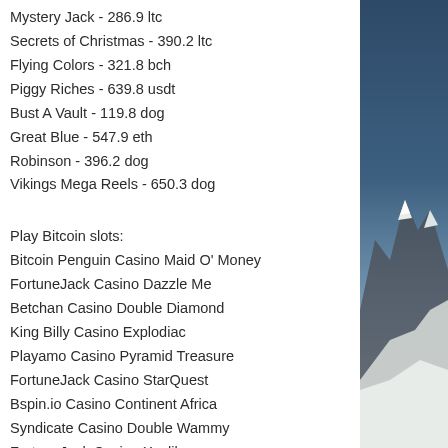Mystery Jack - 286.9 ltc
Secrets of Christmas - 390.2 ltc
Flying Colors - 321.8 bch
Piggy Riches - 639.8 usdt
Bust A Vault - 119.8 dog
Great Blue - 547.9 eth
Robinson - 396.2 dog
Vikings Mega Reels - 650.3 dog
Play Bitcoin slots:
Bitcoin Penguin Casino Maid O' Money
FortuneJack Casino Dazzle Me
Betchan Casino Double Diamond
King Billy Casino Explodiac
Playamo Casino Pyramid Treasure
FortuneJack Casino StarQuest
Bspin.io Casino Continent Africa
Syndicate Casino Double Wammy
FortuneJack Casino Xcalibur
Betcoin.ag Casino Energy Fruits
[Figure (photo): Snowy mountain peaks with blue sky gradient, photo in right column]